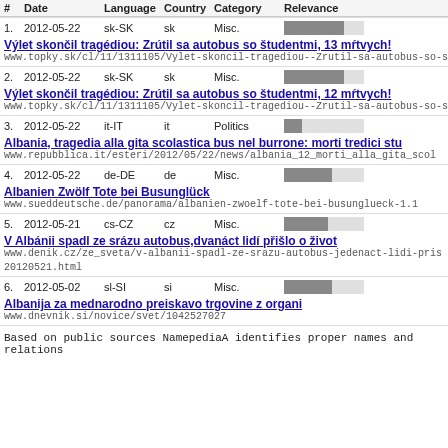| # | Date | Language | Country | Category | Relevance |
| --- | --- | --- | --- | --- | --- |
| 1. | 2012-05-22 | sk-SK | sk | Misc. | [bar ~75%] |
| Výlet skončil tragédiou: Zrútil sa autobus so študentmi, 13 mŕtvych! |  |  |  |  |  |
| www.topky.sk/cl/11/1311105/Vylet-skoncil-tragediou--Zrutil-sa-autobus-so-s |  |  |  |  |  |
| 2. | 2012-05-22 | sk-SK | sk | Misc. | [bar ~75%] |
| Výlet skončil tragédiou: Zrútil sa autobus so študentmi, 12 mŕtvych! |  |  |  |  |  |
| www.topky.sk/cl/11/1311105/Vylet-skoncil-tragediou--Zrutil-sa-autobus-so-s |  |  |  |  |  |
| 3. | 2012-05-22 | it-IT | it | Politics | [bar ~25%] |
| Albania, tragedia alla gita scolastica bus nel burrone: morti tredici stu |  |  |  |  |  |
| www.repubblica.it/esteri/2012/05/22/news/albania_12_morti_alla_gita_scol |  |  |  |  |  |
| 4. | 2012-05-22 | de-DE | de | Misc. | [bar ~60%] |
| Albanien Zwölf Tote bei Busunglück |  |  |  |  |  |
| www.sueddeutsche.de/panorama/albanien-zwoelf-tote-bei-busunglueck-1.1 |  |  |  |  |  |
| 5. | 2012-05-21 | cs-CZ | cz | Misc. | [bar ~55%] |
| V Albánii spadl ze srázu autobus,dvanáct lidí přišlo o život |  |  |  |  |  |
| www.denik.cz/ze_sveta/v-albanii-spadl-ze-srazu-autobus-jedenact-lidi-pris / 20120521.html |  |  |  |  |  |
| 6. | 2012-05-02 | sl-SI | si | Misc. | [bar ~60%] |
| Albanija za mednarodno preiskavo trgovine z organi |  |  |  |  |  |
| www.dnevnik.si/novice/svet/1042527027 |  |  |  |  |  |
Based on public sources NamepediaA identifies proper names and relations